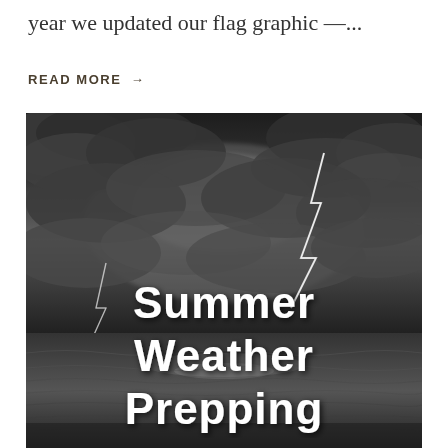year we updated our flag graphic —...
READ MORE →
[Figure (photo): Black and white dramatic stormy sky over water with lightning, text overlay reading 'Summer Weather Prepping']